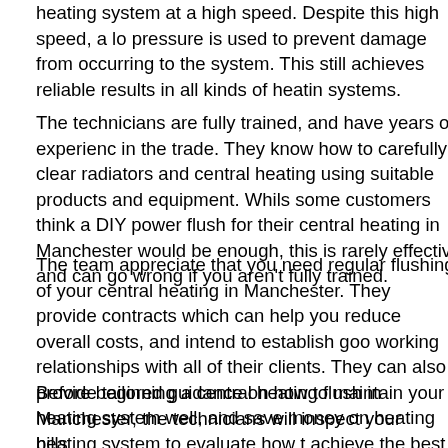heating system at a high speed. Despite this high speed, a low pressure is used to prevent damage from occurring to the system. This still achieves reliable results in all kinds of heating systems.
The technicians are fully trained, and have years of experience in the trade. They know how to carefully clear radiators and central heating using suitable products and equipment. Whilst some customers think a DIY power flush for their central heating in Manchester would be enough, this is rarely effective and can go wrong if you aren't fully trained.
The team appreciate that you need regular flushing of your central heating in Manchester. They provide contracts which can help you reduce overall costs, and intend to establish good working relationships with all of their clients. They can also provide tailored guidance on how to maintain your heating system well, and save money on heating bills.
Before beginning a central heating flush in Manchester, the technicians will inspect your heating system to evaluate how to achieve the best results. For example, they might need to use certain techniques or products depending on the layout and condition of the heating system. This also allows them to work out how long the process will take, and how much it will cost.